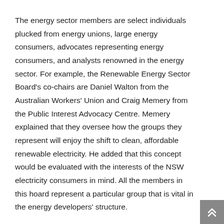The energy sector members are select individuals plucked from energy unions, large energy consumers, advocates representing energy consumers, and analysts renowned in the energy sector. For example, the Renewable Energy Sector Board's co-chairs are Daniel Walton from the Australian Workers' Union and Craig Memery from the Public Interest Advocacy Centre. Memery explained that they oversee how the groups they represent will enjoy the shift to clean, affordable renewable electricity. He added that this concept would be evaluated with the interests of the NSW electricity consumers in mind. All the members in this hoard represent a particular group that is vital in the energy developers' structure.